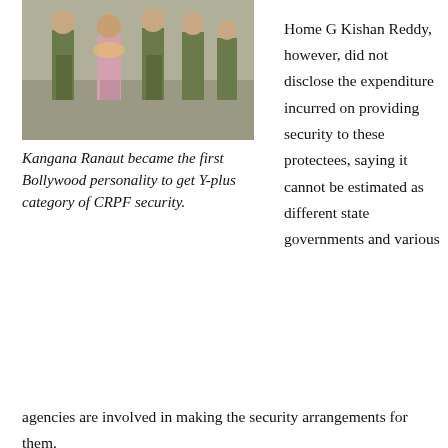[Figure (photo): A group of people including security personnel in camouflage uniforms walking together.]
Kangana Ranaut became the first Bollywood personality to get Y-plus category of CRPF security.
Home G Kishan Reddy, however, did not disclose the expenditure incurred on providing security to these protectees, saying it cannot be estimated as different state governments and various agencies are involved in making the security arrangements for them.